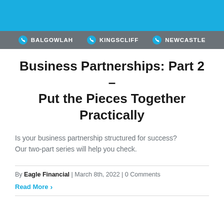BALGOWLAH | KINGSCLIFF | NEWCASTLE
Business Partnerships: Part 2 – Put the Pieces Together Practically
Is your business partnership structured for success? Our two-part series will help you check.
By Eagle Financial | March 8th, 2022 | 0 Comments
Read More >